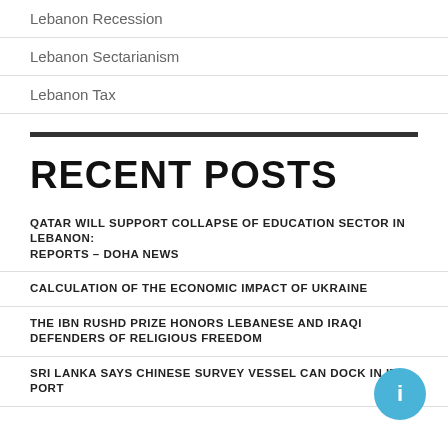Lebanon Recession
Lebanon Sectarianism
Lebanon Tax
RECENT POSTS
QATAR WILL SUPPORT COLLAPSE OF EDUCATION SECTOR IN LEBANON: REPORTS – DOHA NEWS
CALCULATION OF THE ECONOMIC IMPACT OF UKRAINE
THE IBN RUSHD PRIZE HONORS LEBANESE AND IRAQI DEFENDERS OF RELIGIOUS FREEDOM
SRI LANKA SAYS CHINESE SURVEY VESSEL CAN DOCK IN ITS PORT